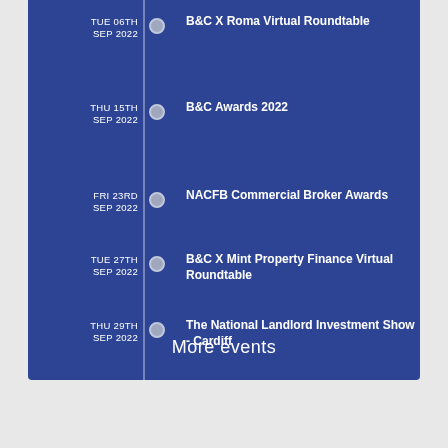TUE 06TH SEP 2022 — B&C X Roma Virtual Roundtable
THU 15TH SEP 2022 — B&C Awards 2022
FRI 23RD SEP 2022 — NACFB Commercial Broker Awards
TUE 27TH SEP 2022 — B&C X Mint Property Finance Virtual Roundtable
THU 29TH SEP 2022 — The National Landlord Investment Show - Cardiff
More events